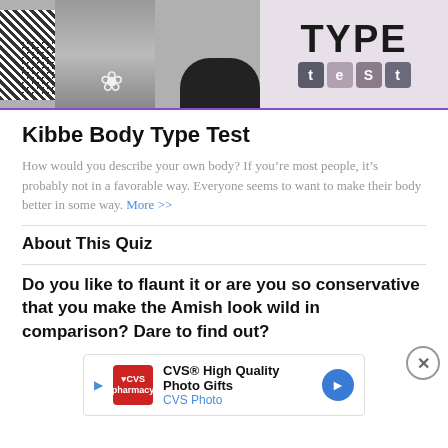[Figure (photo): Banner image for Kibbe Body Type Test quiz page showing a collage with a woman figure, flowers, zigzag patterns, and bold text reading 'TYPE test' on a light lavender background]
Kibbe Body Type Test
How would you describe your own body? If you’re most people, it’s probably not in a favorable way. Everyone seems to want to make their body better in some way. More >>
About This Quiz
Do you like to flaunt it or are you so conservative that you make the Amish look wild in comparison? Dare to find out?
[Figure (screenshot): CVS advertisement banner showing CVS Pharmacy logo, text 'CVS® High Quality Photo Gifts' and 'CVS Photo' with a blue navigation arrow]